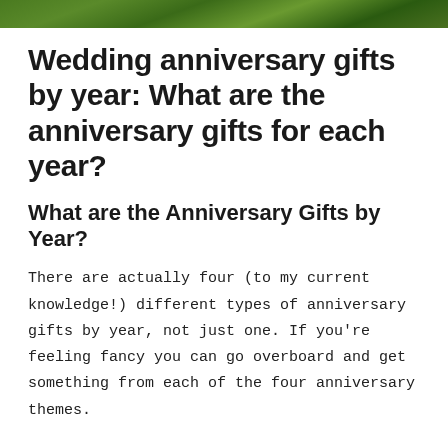[Figure (photo): Top portion of an outdoor nature/garden photo showing green foliage, partially cropped at bottom]
Wedding anniversary gifts by year: What are the anniversary gifts for each year?
What are the Anniversary Gifts by Year?
There are actually four (to my current knowledge!) different types of anniversary gifts by year, not just one. If you're feeling fancy you can go overboard and get something from each of the four anniversary themes.